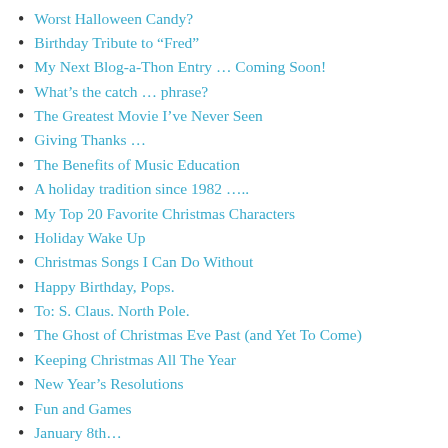Worst Halloween Candy?
Birthday Tribute to “Fred”
My Next Blog-a-Thon Entry … Coming Soon!
What’s the catch … phrase?
The Greatest Movie I’ve Never Seen
Giving Thanks …
The Benefits of Music Education
A holiday tradition since 1982 …..
My Top 20 Favorite Christmas Characters
Holiday Wake Up
Christmas Songs I Can Do Without
Happy Birthday, Pops.
To: S. Claus. North Pole.
The Ghost of Christmas Eve Past (and Yet To Come)
Keeping Christmas All The Year
New Year’s Resolutions
Fun and Games
January 8th…
“Made in 1938”
“What’s in YOUR wallet?”
40 years of the Dukes
“Life is better when you are laughing”
Remembering my friend, Jay
“A long, long time ago …”